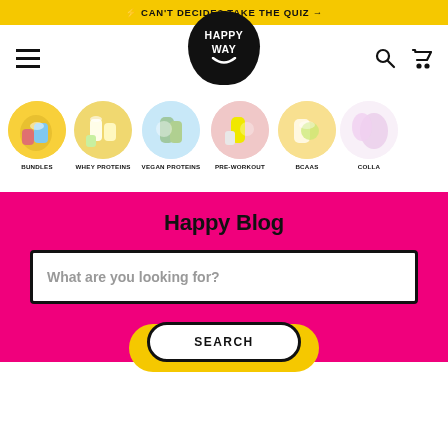⚡ CAN'T DECIDE? TAKE THE QUIZ →
[Figure (logo): Happy Way logo — black rounded shape with white text 'HAPPY WAY' and smile]
[Figure (illustration): Category navigation strip with circular images: BUNDLES, WHEY PROTEINS, VEGAN PROTEINS, PRE-WORKOUT, BCAAS, COLLA...]
Happy Blog
What are you looking for?
SEARCH